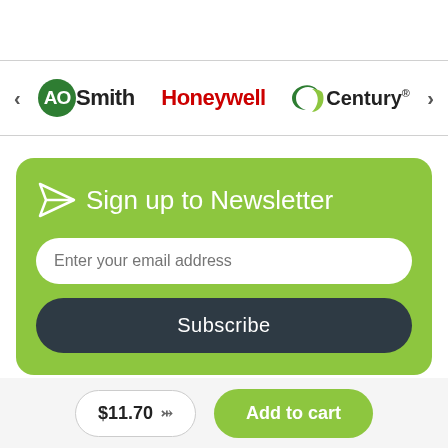[Figure (logo): Brand logos carousel: AO Smith (green circle logo with white AO text, black Smith text), Honeywell (red bold text), Century (swoosh graphic with black text and registered mark). Navigation arrows on left and right.]
Sign up to Newsletter
Enter your email address
Subscribe
$11.70
Add to cart